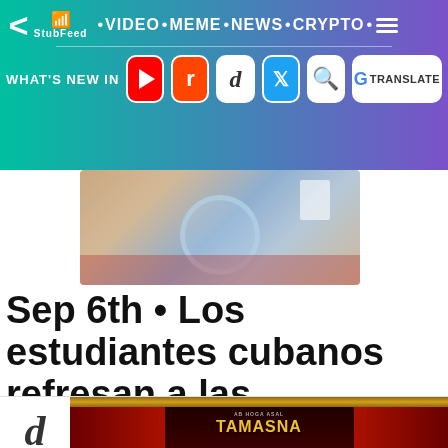StubFeed · VIDEO · MEME · NEWS · CRYPTO
[Figure (screenshot): Social media icons bar: YouTube, Reddit, Digg, Twitter, Search, Google Translate — labeled WHAT'S NEW IN]
[Figure (photo): Photo of a student (Cuban) studying with a magnifying glass over papers on a mat]
Sep 6th • Los estudiantes cubanos refresan a las
[Figure (photo): Digg logo icon followed by a promotional image for Tamasna / Ab Hoga Asal show with stage curtains]